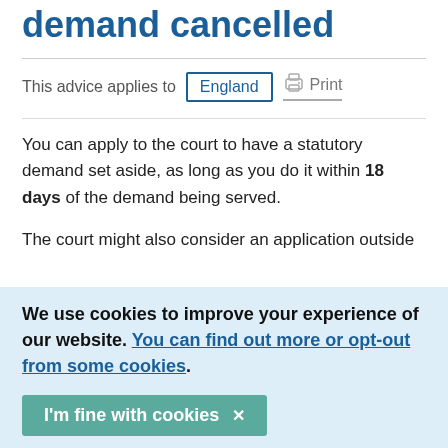demand cancelled
This advice applies to England  Print
You can apply to the court to have a statutory demand set aside, as long as you do it within 18 days of the demand being served.
The court might also consider an application outside
We use cookies to improve your experience of our website. You can find out more or opt-out from some cookies.
I'm fine with cookies ✕